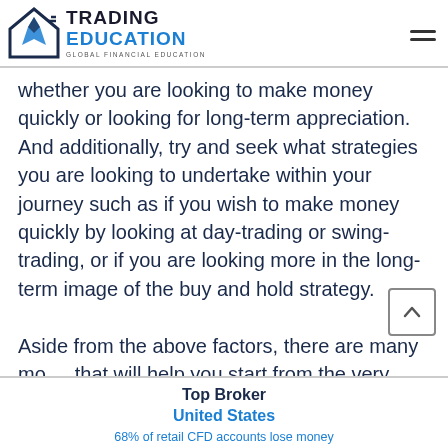TRADING EDUCATION — GLOBAL FINANCIAL EDUCATION
whether you are looking to make money quickly or looking for long-term appreciation. And additionally, try and seek what strategies you are looking to undertake within your journey such as if you wish to make money quickly by looking at day-trading or swing-trading, or if you are looking more in the long-term image of the buy and hold strategy.
Aside from the above factors, there are many mo... that will help you start from the very bottom to
Top Broker United States — 68% of retail CFD accounts lose money